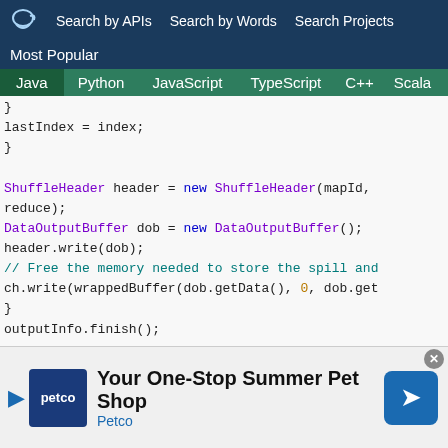Search by APIs  Search by Words  Search Projects
Most Popular
Java  Python  JavaScript  TypeScript  C++  Scala
Java code snippet showing ShuffleHeader and DataOutputBuffer usage with comments
[Figure (screenshot): Advertisement banner: Your One-Stop Summer Pet Shop - Petco]